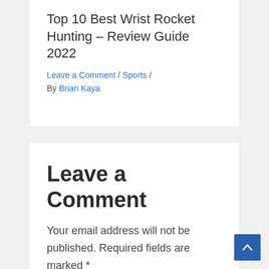Top 10 Best Wrist Rocket Hunting – Review Guide 2022
Leave a Comment / Sports / By Brian Kaya
Leave a Comment
Your email address will not be published. Required fields are marked *